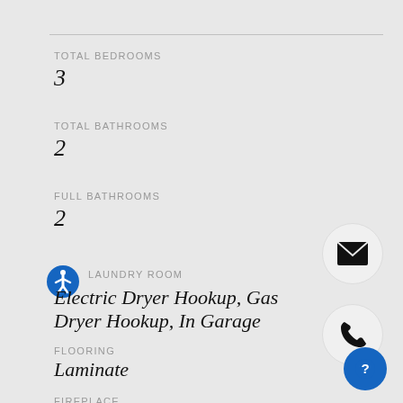TOTAL BEDROOMS
3
TOTAL BATHROOMS
2
FULL BATHROOMS
2
LAUNDRY ROOM
Electric Dryer Hookup, Gas Dryer Hookup, In Garage
FLOORING
Laminate
FIREPLACE